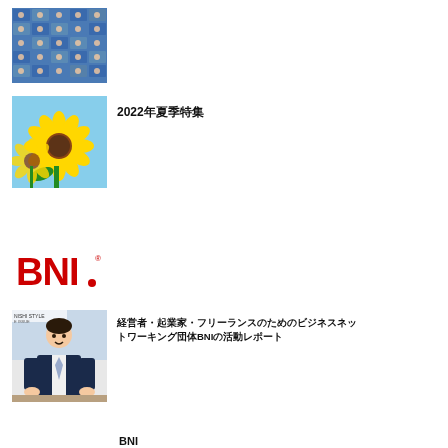[Figure (photo): Grid of video call thumbnails showing multiple people in small frames]
[Figure (photo): Close-up photo of yellow sunflowers against blue sky]
2022年夏季特集
BNIについてのBNIの紹介記事
[Figure (logo): BNI logo in red and black text with registered trademark symbol]
経営者・起業家・フリーランスのためのビジネスネットワーキング団体BNIの活動レポート
[Figure (photo): Business man in dark suit sitting at desk in office, magazine cover style]